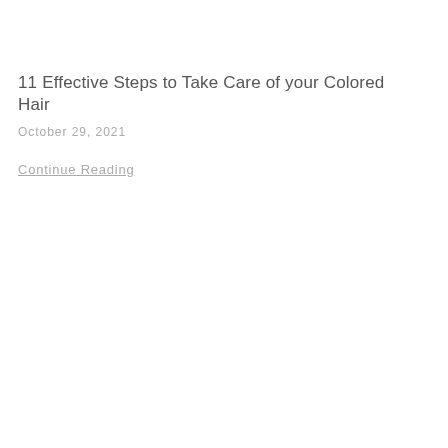11 Effective Steps to Take Care of your Colored Hair
October 29, 2021
Continue Reading